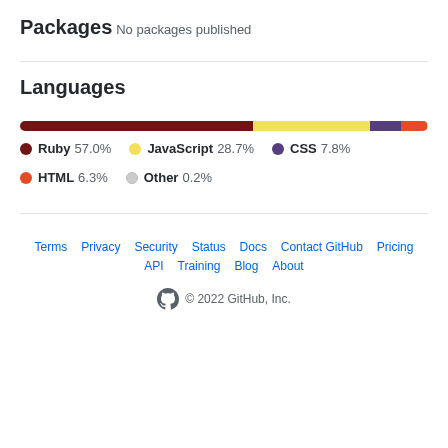Packages
No packages published
Languages
[Figure (stacked-bar-chart): Languages]
Terms  Privacy  Security  Status  Docs  Contact GitHub  Pricing  API  Training  Blog  About  © 2022 GitHub, Inc.